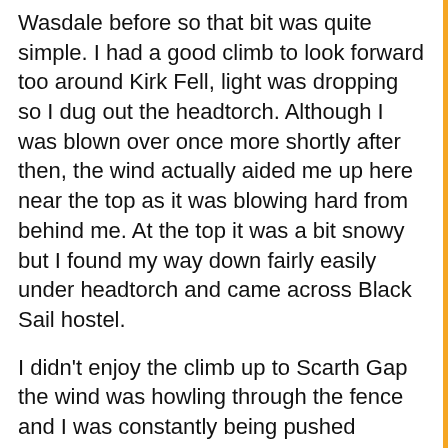Wasdale before so that bit was quite simple. I had a good climb to look forward too around Kirk Fell, light was dropping so I dug out the headtorch. Although I was blown over once more shortly after then, the wind actually aided me up here near the top as it was blowing hard from behind me. At the top it was a bit snowy but I found my way down fairly easily under headtorch and came across Black Sail hostel.
I didn't enjoy the climb up to Scarth Gap the wind was howling through the fence and I was constantly being pushed sideways. After reaching the top I promptly began to get down into Buttermere on the other side where it was slightly more sheltered. It seemed a  very rocky path quite technical in the dark down to a nice easy path along Buttermere. The water was being blown off the lake and until I realised how close the lake was I thought it was raining!
At this point having taken just over 6hours at steady recce pace I decided to cut onto the road back to Keswick to ensure I didn't miss the bus in 90mins which required the 15km to be done at a reasonable pace. I followed the road and got into Keswick just under 1hour 20 later to see the bus